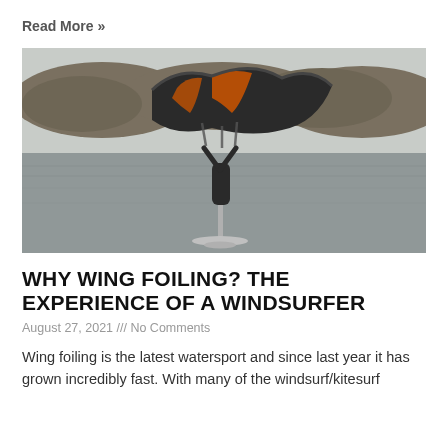Read More »
[Figure (photo): A wing foiler riding on water, holding a large inflatable wing (dark grey with orange accents) above their head, hovering on a hydrofoil above the water surface. A hilly, tree-covered shoreline is visible in the background. The water and sky are grey/overcast.]
WHY WING FOILING? THE EXPERIENCE OF A WINDSURFER
August 27, 2021 /// No Comments
Wing foiling is the latest watersport and since last year it has grown incredibly fast. With many of the windsurf/kitesurf